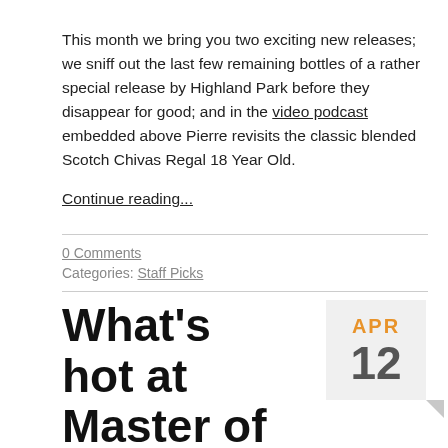This month we bring you two exciting new releases; we sniff out the last few remaining bottles of a rather special release by Highland Park before they disappear for good; and in the video podcast embedded above Pierre revisits the classic blended Scotch Chivas Regal 18 Year Old.
Continue reading...
0 Comments
Categories: Staff Picks
What's hot at Master of Malt - April 2013
Posted on 12th April 2013 by Jean-Luc